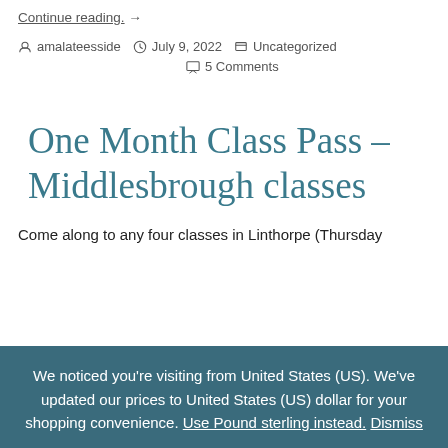Continue reading. →
amalateesside   July 9, 2022   Uncategorized   5 Comments
One Month Class Pass – Middlesbrough classes
Come along to any four classes in Linthorpe (Thursday
We noticed you're visiting from United States (US). We've updated our prices to United States (US) dollar for your shopping convenience. Use Pound sterling instead. Dismiss